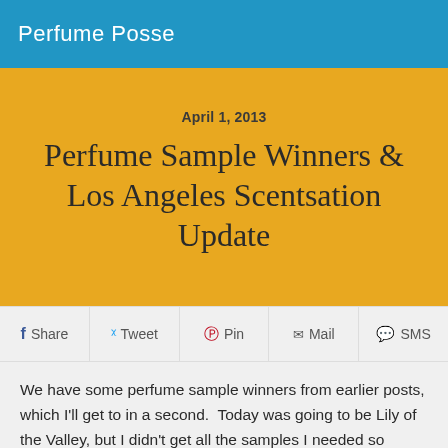Perfume Posse
April 1, 2013
Perfume Sample Winners & Los Angeles Scentsation Update
Share  Tweet  Pin  Mail  SMS
We have some perfume sample winners from earlier posts, which I'll get to in a second.  Today was going to be Lily of the Valley, but I didn't get all the samples I needed so hopefully I'll get it next week. Later this month will be — iris!!!
It was going to go through the Perfume Prize Exchange, the...